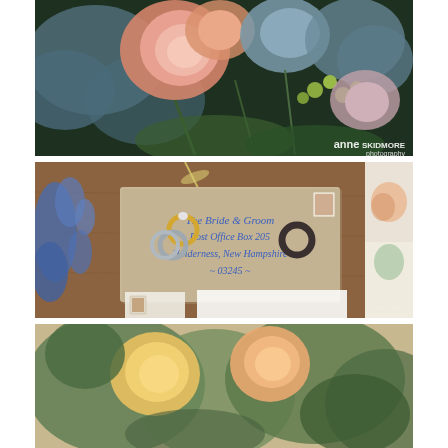[Figure (photo): Close-up photography of a wedding bouquet with peach/pink roses, blue thistles, and green flower buds. Watermark 'anne SKIDMORE photography' in white text at bottom right.]
[Figure (photo): Wedding flat lay photo showing wedding rings (engagement ring, wedding bands) placed on a kraft paper envelope addressed in blue calligraphy to 'The Bride & Groom, Post Office Box 205, Holderness, New Hampshire, 03245'. Blue delphinium flowers visible at left, watercolor wedding invitation card at right edge. Watermark 'SKIDMORE photography' at bottom right.]
[Figure (photo): Partial view of another wedding flat lay photo showing roses and greenery, cropped at page bottom.]